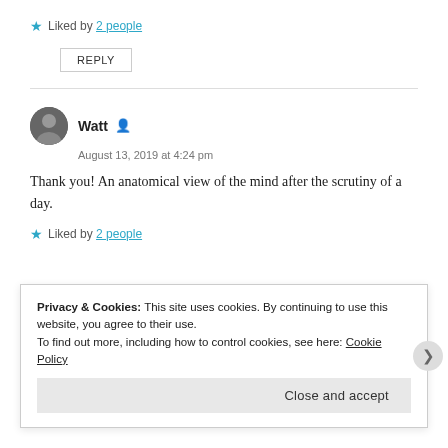★ Liked by 2 people
REPLY
Watt
August 13, 2019 at 4:24 pm
Thank you! An anatomical view of the mind after the scrutiny of a day.
★ Liked by 2 people
Privacy & Cookies: This site uses cookies. By continuing to use this website, you agree to their use. To find out more, including how to control cookies, see here: Cookie Policy
Close and accept